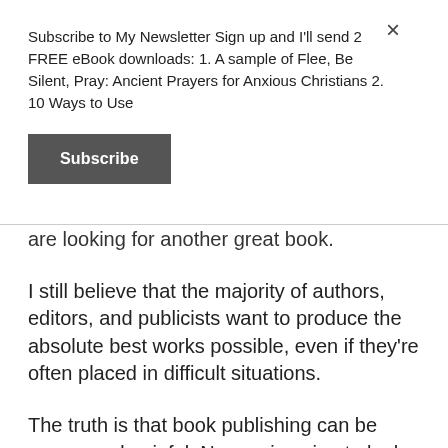Subscribe to My Newsletter Sign up and I'll send 2 FREE eBook downloads: 1. A sample of Flee, Be Silent, Pray: Ancient Prayers for Anxious Christians 2. 10 Ways to Use
[Figure (other): Subscribe button — dark grey rectangular button with white bold text 'Subscribe']
are looking for another great book.
I still believe that the majority of authors, editors, and publicists want to produce the absolute best works possible, even if they're often placed in difficult situations.
The truth is that book publishing can be messy and painful. No one is going to look out for your spiritual health. Once